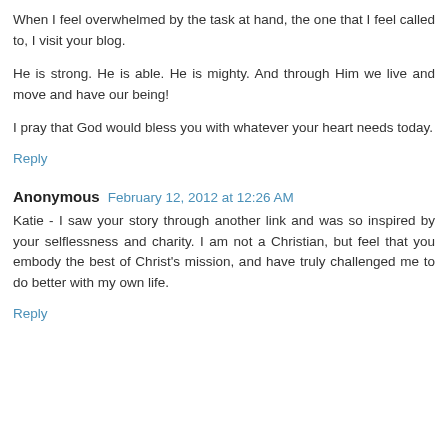When I feel overwhelmed by the task at hand, the one that I feel called to, I visit your blog.
He is strong. He is able. He is mighty. And through Him we live and move and have our being!
I pray that God would bless you with whatever your heart needs today.
Reply
Anonymous  February 12, 2012 at 12:26 AM
Katie - I saw your story through another link and was so inspired by your selflessness and charity. I am not a Christian, but feel that you embody the best of Christ's mission, and have truly challenged me to do better with my own life.
Reply